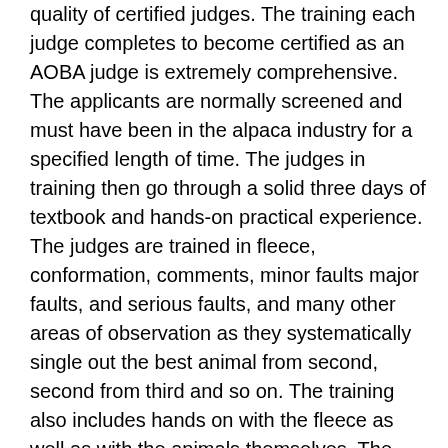quality of certified judges.  The training each judge completes to become certified as an AOBA judge is extremely comprehensive.  The applicants are normally screened and must have been in the alpaca industry for a specified length of time.  The judges in training then go through a solid three days of textbook and hands-on practical experience.  The judges are trained in fleece, conformation, comments, minor faults major faults, and serious faults, and many other areas of observation as they systematically single out the best animal from second, second from third and so on.  The training also includes hands on with the fleece as well as with the animals themselves.  The judges in training must pass this course with a fairly accuracy score.
Before the judges can be certified as AOBA judges each apprentice must then attend a specified number of